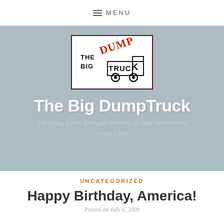≡ MENU
[Figure (logo): The Big DumpTruck logo: hand-drawn style text reading THE BIG DUMP TRUCK with a simple dump truck illustration, DUMP in red diagonal script, inside a dark red border box]
The Big DumpTruck
Throwing Little Thought Pebbles at Your Windshield Since 1996
UNCATEGORIZED
Happy Birthday, America!
Posted on July 4, 2009